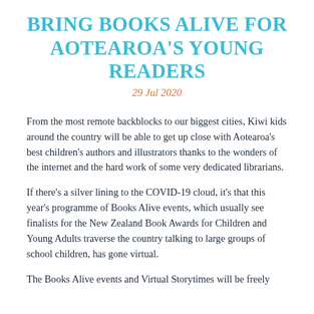BRING BOOKS ALIVE FOR AOTEAROA'S YOUNG READERS
29 Jul 2020
From the most remote backblocks to our biggest cities, Kiwi kids around the country will be able to get up close with Aotearoa's best children's authors and illustrators thanks to the wonders of the internet and the hard work of some very dedicated librarians.
If there's a silver lining to the COVID-19 cloud, it's that this year's programme of Books Alive events, which usually see finalists for the New Zealand Book Awards for Children and Young Adults traverse the country talking to large groups of school children, has gone virtual.
The Books Alive events and Virtual Storytimes will be freely